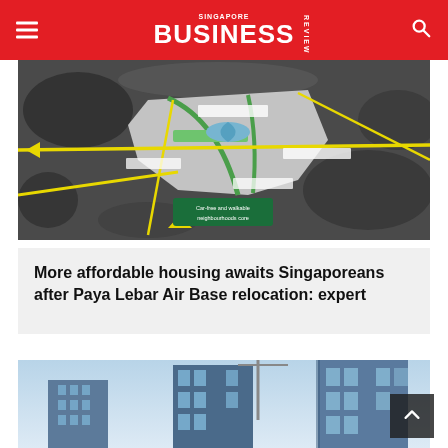Singapore Business Review
[Figure (map): Aerial/satellite map of Paya Lebar Air Base area with roads, green spaces, and planning overlay showing future development concept]
More affordable housing awaits Singaporeans after Paya Lebar Air Base relocation: expert
[Figure (photo): Photo of modern office/commercial buildings with glass facades against a blue sky]